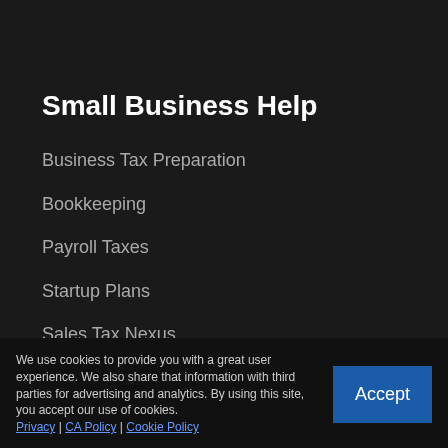Small Business Help
Business Tax Preparation
Bookkeeping
Payroll Taxes
Startup Plans
Sales Tax Nexus
Close Corporate Filing
Tax Debt Resolution
Tax Planning
About
We use cookies to provide you with a great user experience. We also share that information with third parties for advertising and analytics. By using this site, you accept our use of cookies. Privacy | CA Policy | Cookie Policy